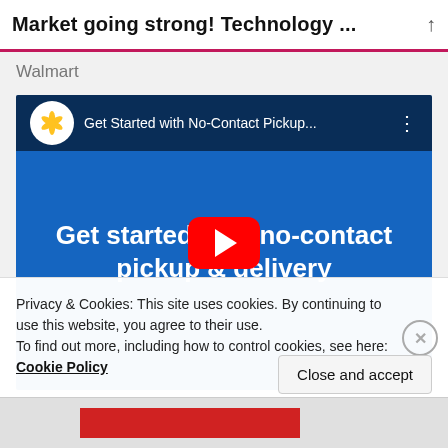Market going strong! Technology ...
Walmart
[Figure (screenshot): YouTube embedded video thumbnail for Walmart's 'Get Started with No-Contact Pickup...' video showing blue background with white bold text reading 'Get started with no-contact pickup & delivery' and a red YouTube play button in the center]
Privacy & Cookies: This site uses cookies. By continuing to use this website, you agree to their use.
To find out more, including how to control cookies, see here:
Cookie Policy
Close and accept